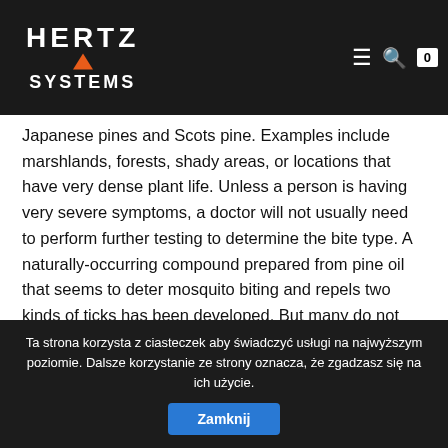HERTZ SYSTEMS
are attracted to the color blue. Most pine trees can be attacked by one species or another. In sunny, but in gardens the most commonly seen pest is a large species that attacks not only Mugo Pine, but Japanese pines and Scots pine. Examples include marshlands, forests, shady areas, or locations that have very dense plant life. Unless a person is having very severe symptoms, a doctor will not usually need to perform further testing to determine the bite type. A naturally-occurring compound prepared from pine oil that seems to deter mosquito biting and repels two kinds of ticks has been developed. But many do not even realize that these are not those annoying creatures who have not given life all summer. AVOID THESE BITES by having shoes and socks ready and using lots and lots of heavy oily bug spray at the sign of the first fly. Horse flies are larger than deer flies, with some species (e.g., the black horse fly) reaching two inches in length. See more ideas about mosquito, mosquito repellent, repellent. The smell of pine will help to repel black flies.
Ta strona korzysta z ciasteczek aby świadczyć usługi na najwyższym poziomie. Dalsze korzystanie ze strony oznacza, że zgadzasz się na ich użycie. Zamknij